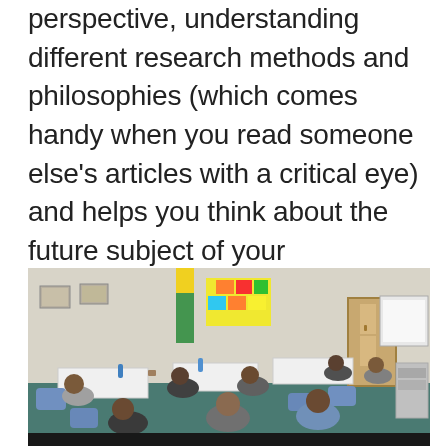perspective, understanding different research methods and philosophies (which comes handy when you read someone else's articles with a critical eye) and helps you think about the future subject of your dissertation with a pragmatic view.
[Figure (photo): A classroom scene showing a group of students sitting at tables, working together in what appears to be a workshop or seminar setting. The room has white walls with pictures hanging on them, a colorful sticky-note board at the back, and a door to the right. Students appear to be engaged in group discussion or activity.]